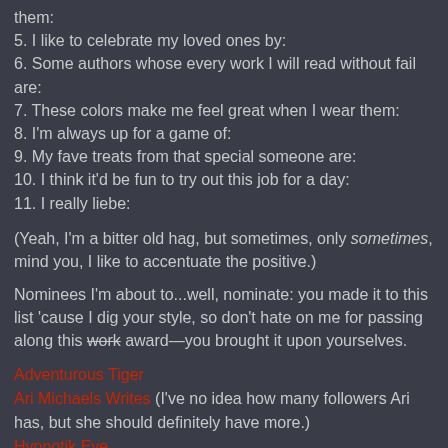them:
5. I like to celebrate my loved ones by:
6. Some authors whose every work I will read without fail are:
7. These colors make me feel great when I wear them:
8. I'm always up for a game of:
9. My fave treats from that special someone are:
10. I think it'd be fun to try out this job for a day:
11. I really liebe:
(Yeah, I'm a bitter old hag, but sometimes, only sometimes, mind you, I like to accentuate the positive.)
Nominees I'm about to...well, nominate: you made it to this list 'cause I dig your style, so don't hate on me for passing along this work award—you brought it upon yourselves.
Adventurous Tiger
Ari Michaels Writes (I've no idea how many followers Ari has, but she should definitely have more.)
Hypnotik Eye
No Natural Mama